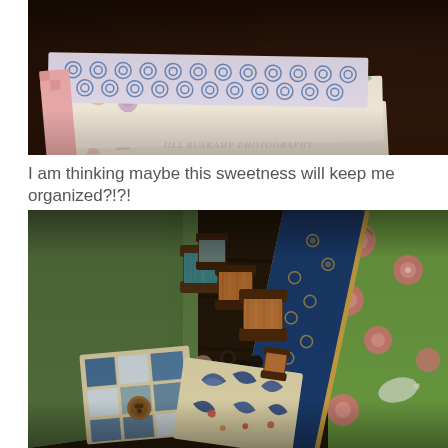[Figure (photo): Overhead photo of stacked fabric swatches with colorful patterns including blue circles, floral designs, and geometric prints on a dark wooden table. Watermark reads 'Jill Ruskamp Photography' in bottom right.]
I am thinking maybe this sweetness will keep me organized?!?!
[Figure (photo): Photo of sewing notions including wooden thread spools, buttons, two small patchwork fabric books/wallets with blue and cream quilt patterns and a wooden button closure, next to rolled fabric with floral designs, on a wooden surface with a green painted wooden item.]